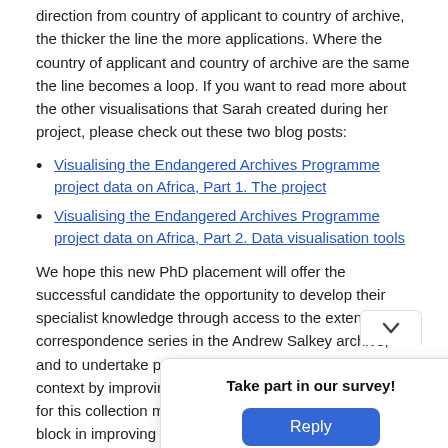direction from country of applicant to country of archive, the thicker the line the more applications. Where the country of applicant and country of archive are the same the line becomes a loop. If you want to read more about the other visualisations that Sarah created during her project, please check out these two blog posts:
Visualising the Endangered Archives Programme project data on Africa, Part 1. The project
Visualising the Endangered Archives Programme project data on Africa, Part 2. Data visualisation tools
We hope this new PhD placement will offer the successful candidate the opportunity to develop their specialist knowledge through access to the extensive correspondence series in the Andrew Salkey archive, and to undertake practical research in a curatorial context by improving the accessibility of linked metadata for this collection material. This project is a vital building block in improving the Library's engagement with this material and exploring the ways it can be accessed by a wider audience.
If you want... website at https://w... british-library-phd... D Pl...
[Figure (other): A survey popup overlay with title 'Take part in our survey!' and a blue 'Reply' button, partially covering the text content below.]